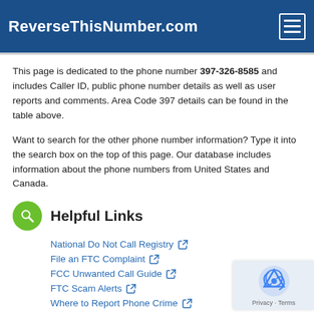ReverseThisNumber.com
This page is dedicated to the phone number 397-326-8585 and includes Caller ID, public phone number details as well as user reports and comments. Area Code 397 details can be found in the table above.
Want to search for the other phone number information? Type it into the search box on the top of this page. Our database includes information about the phone numbers from United States and Canada.
Helpful Links
National Do Not Call Registry
File an FTC Complaint
FCC Unwanted Call Guide
FTC Scam Alerts
Where to Report Phone Crime